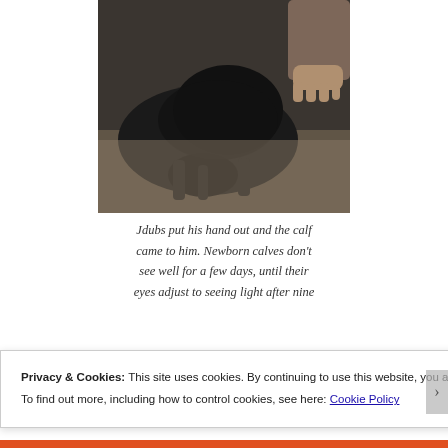[Figure (photo): A black newborn calf lying on the ground with a human hand reaching out to touch it, photographed outdoors on dry ground.]
Jdubs put his hand out and the calf came to him. Newborn calves don't see well for a few days, until their eyes adjust to seeing light after nine
Privacy & Cookies: This site uses cookies. By continuing to use this website, you agree to their use.
To find out more, including how to control cookies, see here: Cookie Policy
Close and accept